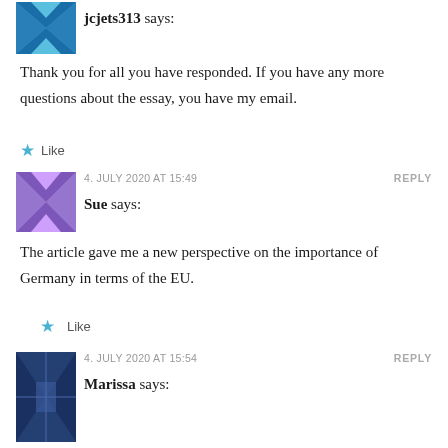[Figure (illustration): Avatar icon for jcjets313 — blue geometric quilt pattern]
jcjets313 says:
Thank you for all you have responded. If you have any more questions about the essay, you have my email.
Like
[Figure (illustration): Avatar icon for Sue — purple geometric quilt pattern]
4. JULY 2020 AT 15:49
REPLY
Sue says:
The article gave me a new perspective on the importance of Germany in terms of the EU.
Like
[Figure (illustration): Avatar icon for Marissa — dark blue geometric quilt pattern]
4. JULY 2020 AT 15:54
REPLY
Marissa says: